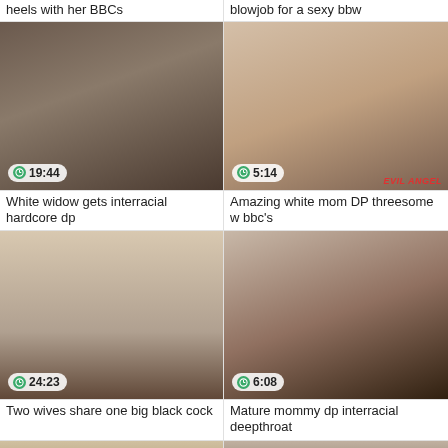heels with her BBCs
blowjob for a sexy bbw
[Figure (photo): Video thumbnail - White widow gets interracial hardcore dp, duration 19:44]
[Figure (photo): Video thumbnail - Amazing white mom DP threesome w bbc's, duration 5:14]
White widow gets interracial hardcore dp
Amazing white mom DP threesome w bbc's
[Figure (photo): Video thumbnail - Two wives share one big black cock, duration 24:23]
[Figure (photo): Video thumbnail - Mature mommy dp interracial deepthroat, duration 6:08]
Two wives share one big black cock
Mature mommy dp interracial deepthroat
[Figure (photo): Video thumbnail - partial, bottom of page]
[Figure (photo): Video thumbnail - partial, bottom of page]